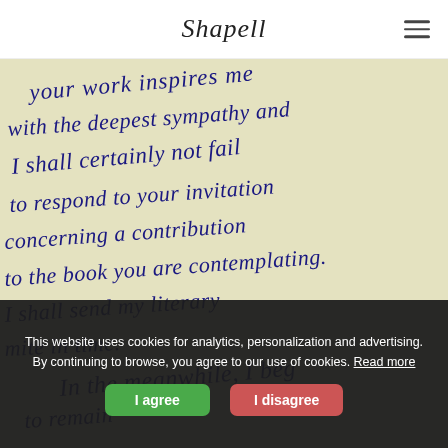Shapell
[Figure (photo): Handwritten letter in dark blue ink on aged yellowish paper. Text reads: '...your work inspires me with the deepest sympathy and I shall certainly not fail to respond to your invitation concerning a contribution to the book you are contemplating. I shall send my literary mite in time. In the meanwhile, I beg to remain [signature]']
This website uses cookies for analytics, personalization and advertising. By continuing to browse, you agree to our use of cookies. Read more
I agree
I disagree